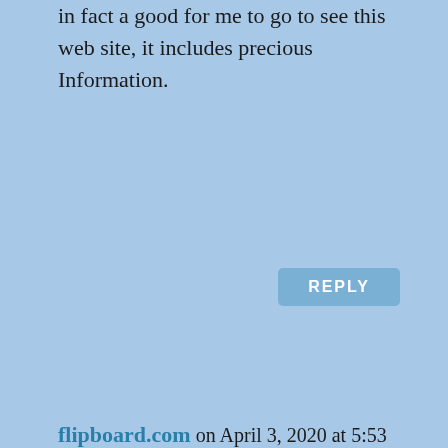in fact a good for me to go to see this web site, it includes precious Information.
REPLY
flipboard.com on April 3, 2020 at 5:53 pm
This website certainly has all the info I needed concerning this subject and didn’t know who to ask.
REPLY